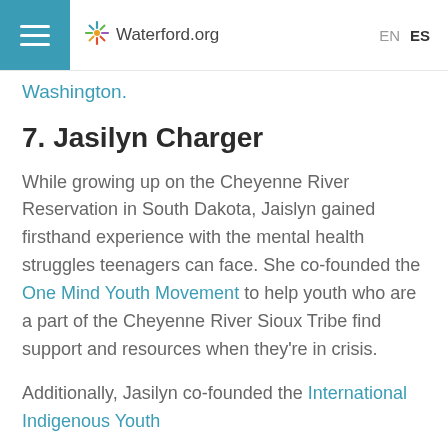Waterford.org  EN  ES
Washington.
7. Jasilyn Charger
While growing up on the Cheyenne River Reservation in South Dakota, Jaislyn gained firsthand experience with the mental health struggles teenagers can face. She co-founded the One Mind Youth Movement to help youth who are a part of the Cheyenne River Sioux Tribe find support and resources when they’re in crisis.
Additionally, Jasilyn co-founded the International Indigenous Youth